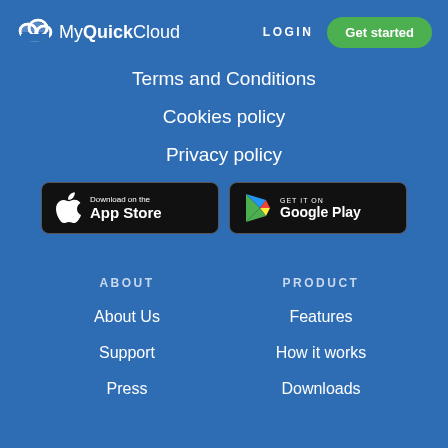[Figure (logo): MyQuickCloud logo with cloud icon]
LOGIN
Get started
Terms and Conditions
Cookies policy
Privacy policy
[Figure (illustration): Download on the App Store button]
[Figure (illustration): Get it on Google Play button]
ABOUT
PRODUCT
About Us
Features
Support
How it works
Press
Downloads